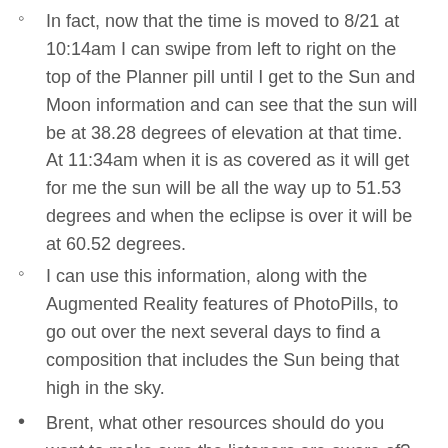In fact, now that the time is moved to 8/21 at 10:14am I can swipe from left to right on the top of the Planner pill until I get to the Sun and Moon information and can see that the sun will be at 38.28 degrees of elevation at that time.  At 11:34am when it is as covered as it will get for me the sun will be all the way up to 51.53 degrees and when the eclipse is over it will be at 60.52 degrees.
I can use this information, along with the Augmented Reality features of PhotoPills,  to go out over the next several days to find a composition that includes the Sun being that high in the sky.
Brent, what other resources should do you want to make sure the listeners are aware of?